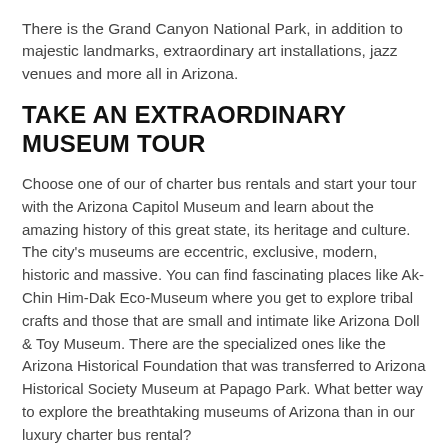There is the Grand Canyon National Park, in addition to majestic landmarks, extraordinary art installations, jazz venues and more all in Arizona.
TAKE AN EXTRAORDINARY MUSEUM TOUR
Choose one of our of charter bus rentals and start your tour with the Arizona Capitol Museum and learn about the amazing history of this great state, its heritage and culture. The city’s museums are eccentric, exclusive, modern, historic and massive. You can find fascinating places like Ak-Chin Him-Dak Eco-Museum where you get to explore tribal crafts and those that are small and intimate like Arizona Doll & Toy Museum. There are the specialized ones like the Arizona Historical Foundation that was transferred to Arizona Historical Society Museum at Papago Park. What better way to explore the breathtaking museums of Arizona than in our luxury charter bus rental?
Ak Chin Him Dak Eco-Museum